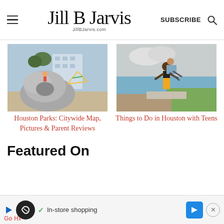Jill B Jarvis — JillBJarvis.com | SUBSCRIBE
[Figure (photo): Child playing on large rock sculpture at a Houston park with playground equipment and building in background]
[Figure (photo): Man carrying teenager on his back near a waterfront park in Houston]
Houston Parks: Citywide Map, Pictures & Parent Reviews
Things to Do in Houston with Teens
Featured On
[Figure (infographic): Ad banner: play icon, circular logo, checkmark with In-store shopping text, blue arrow box, close button]